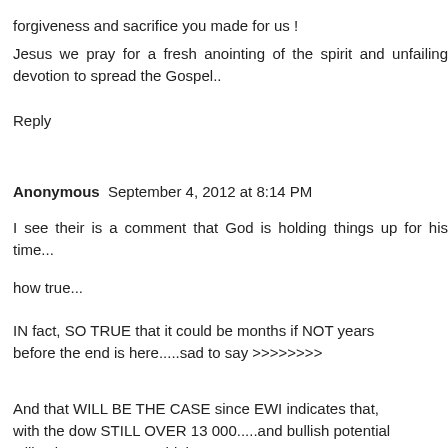forgiveness and sacrifice you made for us !
Jesus we pray for a fresh anointing of the spirit and unfailing devotion to spread the Gospel..
Reply
Anonymous  September 4, 2012 at 8:14 PM
I see their is a comment that God is holding things up for his time...
how true...
IN fact, SO TRUE that it could be months if NOT years before the end is here.....sad to say >>>>>>>>
And that WILL BE THE CASE since EWI indicates that, with the dow STILL OVER 13 000.....and bullish potential still exists to 14,000 or higher.....